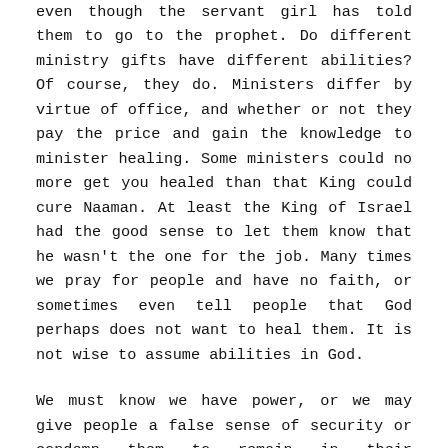even though the servant girl has told them to go to the prophet. Do different ministry gifts have different abilities? Of course, they do. Ministers differ by virtue of office, and whether or not they pay the price and gain the knowledge to minister healing. Some ministers could no more get you healed than that King could cure Naaman. At least the King of Israel had the good sense to let them know that he wasn't the one for the job. Many times we pray for people and have no faith, or sometimes even tell people that God perhaps does not want to heal them. It is not wise to assume abilities in God.
We must know we have power, or we may give people a false sense of security or condemn them to remain in their infirmity. After some delay, the message finally gets to the man of God, who wants Naaman to know God's power. Is your miracle delayed? Keep pressing and hang on to faith. God will come for your faith. The delay may be testing your faith, to determine the strength of it. It takes strong